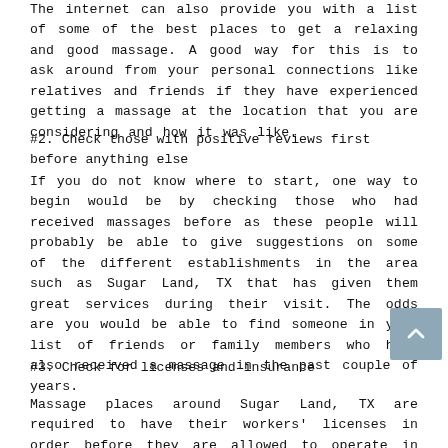The internet can also provide you with a list of some of the best places to get a relaxing and good massage. A good way for this is to ask around from your personal connections like relatives and friends if they have experienced getting a massage at the location that you are considering and how it was like.
#2. Check those with positive reviews first before anything else
If you do not know where to start, one way to begin would be by checking those who had received massages before as these people will probably be able to give suggestions on some of the different establishments in the area such as Sugar Land, TX that has given them great services during their visit. The odds are you would be able to find someone in your list of friends or family members who have also received a massage in the past couple of years.
#3. Check for licenses and insurance
Massage places around Sugar Land, TX are required to have their workers' licenses in order before they are allowed to operate in the area. This is necessary so that only those who are qualified